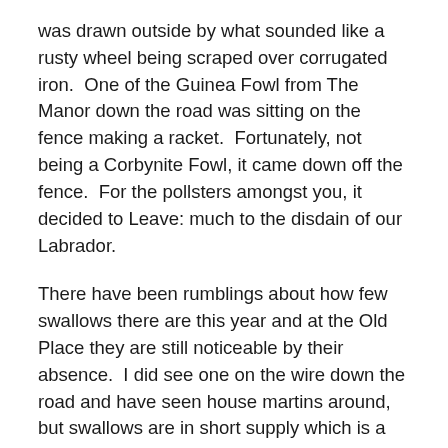was drawn outside by what sounded like a rusty wheel being scraped over corrugated iron.  One of the Guinea Fowl from The Manor down the road was sitting on the fence making a racket.  Fortunately, not being a Corbynite Fowl, it came down off the fence.  For the pollsters amongst you, it decided to Leave: much to the disdain of our Labrador.
There have been rumblings about how few swallows there are this year and at the Old Place they are still noticeable by their absence.  I did see one on the wire down the road and have seen house martins around, but swallows are in short supply which is a little worrying.  One migrant we did hear the other morning was a cuckoo, which I have not heard in these parts for some years.  Mrs B and I had a slight disagreement as I tend to talk about cuckoos with the definitive article:  I always hear THE cuckoo, not A